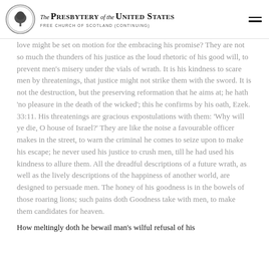The Presbytery of the United States — Free Church of Scotland (Continuing)
love might be set on motion for the embracing his promise? They are not so much the thunders of his justice as the loud rhetoric of his good will, to prevent men's misery under the vials of wrath. It is his kindness to scare men by threatenings, that justice might not strike them with the sword. It is not the destruction, but the preserving reformation that he aims at; he hath 'no pleasure in the death of the wicked'; this he confirms by his oath, Ezek. 33:11. His threatenings are gracious expostulations with them: 'Why will ye die, O house of Israel?' They are like the noise a favourable officer makes in the street, to warn the criminal he comes to seize upon to make his escape; he never used his justice to crush men, till he had used his kindness to allure them. All the dreadful descriptions of a future wrath, as well as the lively descriptions of the happiness of another world, are designed to persuade men. The honey of his goodness is in the bowels of those roaring lions; such pains doth Goodness take with men, to make them candidates for heaven.
How meltingly doth he bewail man's wilful refusal of his